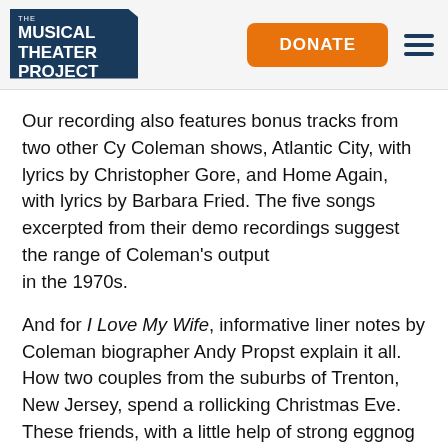[Figure (logo): The Musical Theater Project logo — dark navy blue angular banner shape with white text reading 'THE / MUSICAL / THEATER / PROJECT']
DONATE
Our recording also features bonus tracks from two other Cy Coleman shows, Atlantic City, with lyrics by Christopher Gore, and Home Again, with lyrics by Barbara Fried. The five songs excerpted from their demo recordings suggest the range of Coleman's output in the 1970s.
And for I Love My Wife, informative liner notes by Coleman biographer Andy Propst explain it all. How two couples from the suburbs of Trenton, New Jersey, spend a rollicking Christmas Eve. These friends, with a little help of strong eggnog